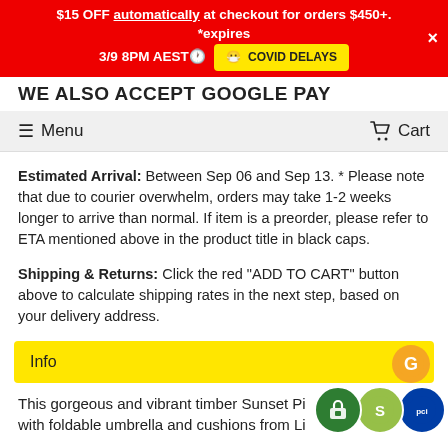$15 OFF automatically at checkout for orders $450+. *expires 3/9 8PM AEST  COVID DELAYS
WE ALSO ACCEPT GOOGLE PAY  ☰ Menu  🛒 Cart
Estimated Arrival: Between Sep 06 and Sep 13. * Please note that due to courier overwhelm, orders may take 1-2 weeks longer to arrive than normal. If item is a preorder, please refer to ETA mentioned above in the product title in black caps.
Shipping & Returns: Click the red "ADD TO CART" button above to calculate shipping rates in the next step, based on your delivery address.
Info ▼
This gorgeous and vibrant timber Sunset Pi... with foldable umbrella and cushions from Li...